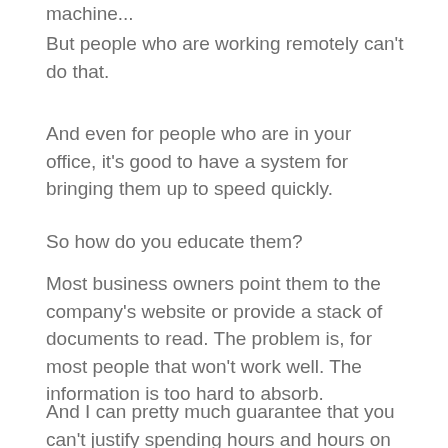machine...
But people who are working remotely can't do that.
And even for people who are in your office, it's good to have a system for bringing them up to speed quickly.
So how do you educate them?
Most business owners point them to the company's website or provide a stack of documents to read. The problem is, for most people that won't work well. The information is too hard to absorb.
And I can pretty much guarantee that you can't justify spending hours and hours on the phone